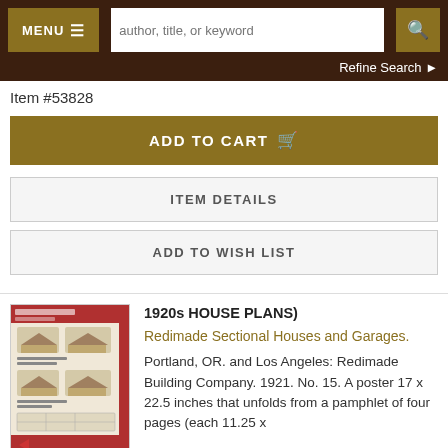MENU ☰  [search: author, title, or keyword]  [search icon]
Refine Search ▶
Item #53828
ADD TO CART 🛒
ITEM DETAILS
ADD TO WISH LIST
[Figure (photo): Thumbnail image of a 1920s house plans catalog/poster showing house illustrations and floor plans]
1920s HOUSE PLANS)
Redimade Sectional Houses and Garages.
Portland, OR. and Los Angeles: Redimade Building Company. 1921. No. 15. A poster 17 x 22.5 inches that unfolds from a pamphlet of four pages (each 11.25 x